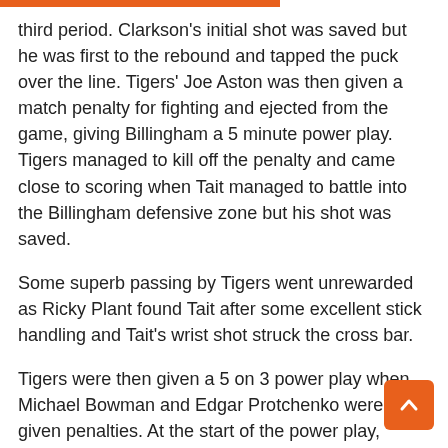third period. Clarkson's initial shot was saved but he was first to the rebound and tapped the puck over the line. Tigers' Joe Aston was then given a match penalty for fighting and ejected from the game, giving Billingham a 5 minute power play. Tigers managed to kill off the penalty and came close to scoring when Tait managed to battle into the Billingham defensive zone but his shot was saved.
Some superb passing by Tigers went unrewarded as Ricky Plant found Tait after some excellent stick handling and Tait's wrist shot struck the cross bar.
Tigers were then given a 5 on 3 power play when Michael Bowman and Edgar Protchenko were given penalties. At the start of the power play, Weaver and Clarkson exchanged passes and Clarkson hammered a powerful shot from the right circle, which flew past Flavell for the 5th